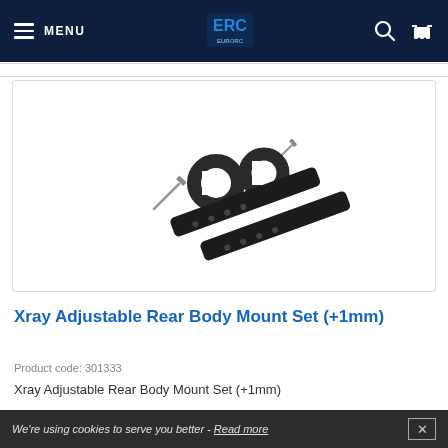MENU [hamburger] [EuroRC logo] [search] [cart]
[Figure (photo): Product photo of Xray Adjustable Rear Body Mount Set (+1mm): two elongated black rail pieces and two black c-ring clips with screws on white background]
Xray Adjustable Rear Body Mount Set (+1mm)
Product code: 301333
Xray Adjustable Rear Body Mount Set (+1mm)
£6.17
We're using cookies to serve you better - Read more